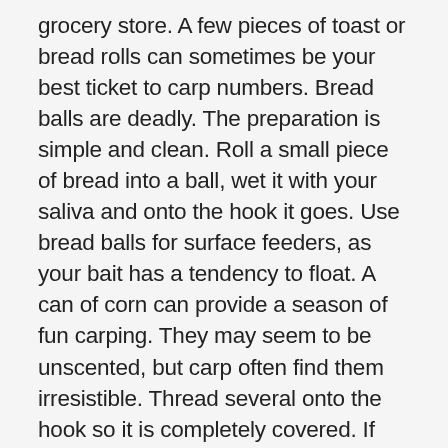grocery store. A few pieces of toast or bread rolls can sometimes be your best ticket to carp numbers. Bread balls are deadly. The preparation is simple and clean. Roll a small piece of bread into a ball, wet it with your saliva and onto the hook it goes. Use bread balls for surface feeders, as your bait has a tendency to float. A can of corn can provide a season of fun carping. They may seem to be unscented, but carp often find them irresistible. Thread several onto the hook so it is completely covered. If you want to make your own “Boilies”, a cup of flour mixed with a cup of corn meal should be the basic ingredients of your. Whatever you add on top of this will depend on you, or the fish. Since scent is strong factor, the addition of a strong, yet new smell to your bait can often produce surprising result. Scents that are